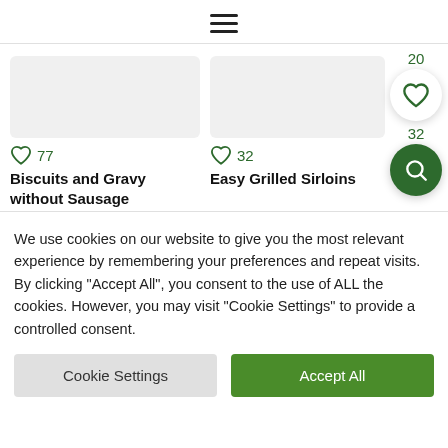hamburger menu icon
[Figure (screenshot): Recipe cards showing 'Biscuits and Gravy without Sausage' with heart icon and 77 likes, and 'Easy Grilled Sirloins' with heart icon and 32 likes. Floating action buttons: heart button with 20, search button.]
Biscuits and Gravy without Sausage
Easy Grilled Sirloins
We use cookies on our website to give you the most relevant experience by remembering your preferences and repeat visits. By clicking "Accept All", you consent to the use of ALL the cookies. However, you may visit "Cookie Settings" to provide a controlled consent.
Cookie Settings
Accept All